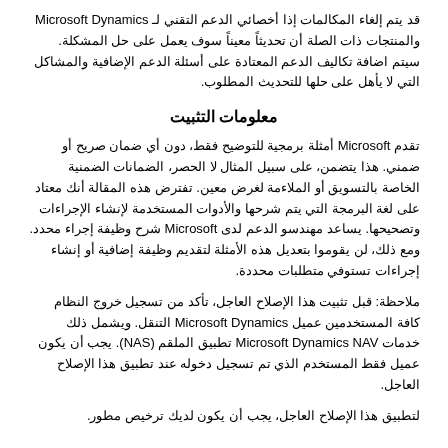قد يتم إلغاء المكالمات إذا أخصائي الدعم التقني لـ Microsoft Dynamics والمنتجات ذات الصلة أن تحديثاً معيناً سوف يعمل على حل المشكلة. سيتم اضافة تكاليف الدعم المعتادة على أسئلة الدعم الإضافية والمشاكل التي لا يأهل على حلها للتحديث المطلوب.
معلومات التثبيت
تقدم Microsoft أمثلة برمجية للتوضيح فقط، دون أي ضمان صريح أو ضمني. هذا يتضمن، على سبيل المثال لا الحصر، الضمانات الضمنية الخاصة بالتسويق أو الملاءمة لغرض معين. تفترض هذه المقالة أنك معتاد على لغة البرمجة التي يتم شرحها والأدوات المستخدمة لإنشاء الإجراءات وتصحيحها. يساعد مهندسو الدعم لدى Microsoft شرح وظيفة إجراء محدد. ومع ذلك، لن يقوموا بتعديل هذه الأمثلة لتقديم وظيفة إضافية أو إنشاء إجراءات تستوفي متطلبات محددة.
ملاحظة: قبل تثبيت هذا الإصلاح العاجل، تأكد من تسجيل خروج النظام كافة المستخدمين عميل Microsoft Dynamics التنقل. ويشمل ذلك خدمات Microsoft Dynamics NAV تطبيق الملقم (NAS). يجب أن يكون عميل فقط المستخدم الذي تم تسجيل دخوله عند تطبيق هذا الإصلاح العاجل.
لتطبيق هذا الإصلاح العاجل، يجب أن يكون لديك ترخيص مطور.